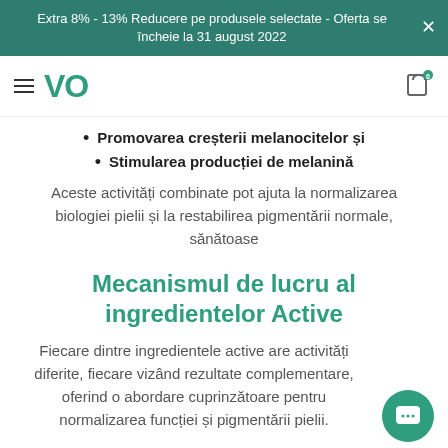Extra 8% - 13% Reducere pe produsele selectate - Oferta se încheie la 31 august 2022
[Figure (logo): VO logo in green with hamburger menu icon and cart icon]
Promovarea creșterii melanocitelor și
Stimularea producției de melanină
Aceste activități combinate pot ajuta la normalizarea biologiei pielii și la restabilirea pigmentării normale, sănătoase
Mecanismul de lucru al ingredientelor Active
Fiecare dintre ingredientele active are activități diferite, fiecare vizând rezultate complementare, oferind o abordare cuprinzătoare pentru normalizarea funcției și pigmentării pielii.